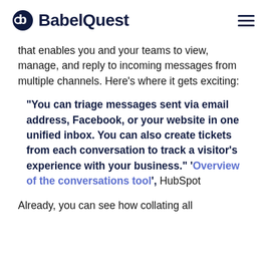BabelQuest
that enables you and your teams to view, manage, and reply to incoming messages from multiple channels. Here's where it gets exciting:
“You can triage messages sent via email address, Facebook, or your website in one unified inbox. You can also create tickets from each conversation to track a visitor's experience with your business.” ‘Overview of the conversations tool’, HubSpot
Already, you can see how collating all